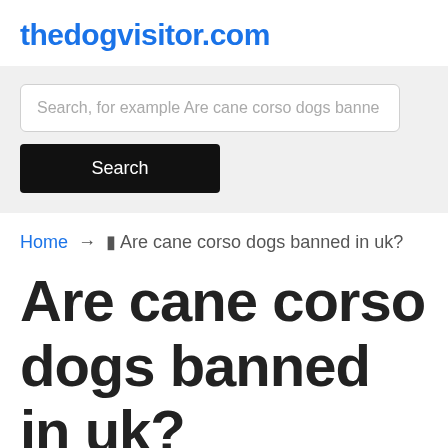thedogvisitor.com
Search, for example Are cane corso dogs banne
Search
Home → 🐾 Are cane corso dogs banned in uk?
Are cane corso dogs banned in uk?